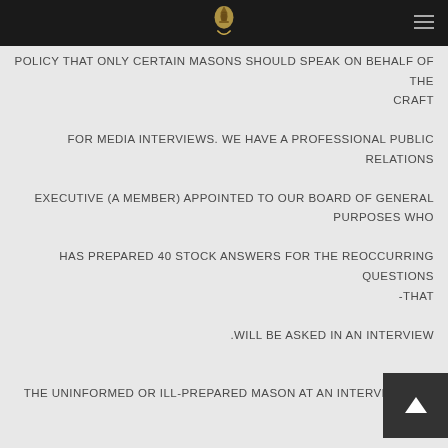POLICY THAT ONLY CERTAIN MASONS SHOULD SPEAK ON BEHALF OF THE CRAFT FOR MEDIA INTERVIEWS. WE HAVE A PROFESSIONAL PUBLIC RELATIONS EXECUTIVE (A MEMBER) APPOINTED TO OUR BOARD OF GENERAL PURPOSES WHO HAS PREPARED 40 STOCK ANSWERS FOR THE REOCCURRING QUESTIONS -THAT .WILL BE ASKED IN AN INTERVIEW THE UNINFORMED OR ILL-PREPARED MASON AT AN INTERVIEW CAN SET MASONRY BEHIND 50 YEARS, NO MATTER HOW GOLDEN HIS INTENTIONS MAY BE